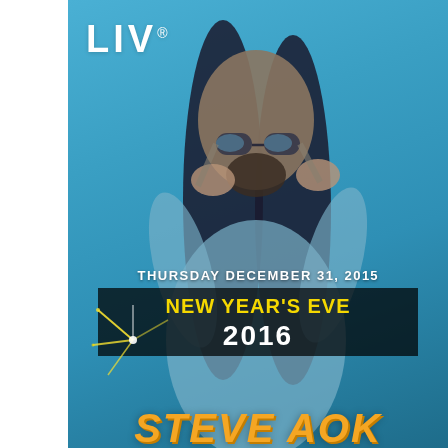[Figure (photo): Promotional event flyer for LIV nightclub New Year's Eve 2016 event featuring Steve Aoki. Shows a man with long dark hair wearing sunglasses against a blue background. White space on left side.]
LIV®
THURSDAY DECEMBER 31, 2015
NEW YEAR'S EVE 2016
STEVE AOKI